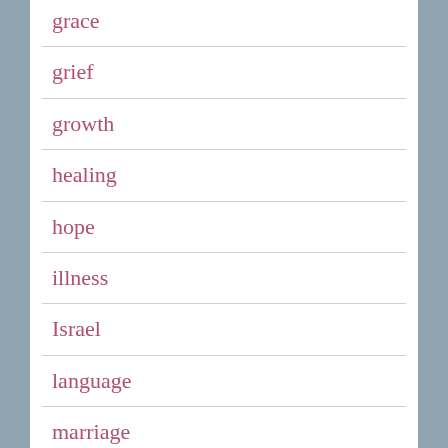grace
grief
growth
healing
hope
illness
Israel
language
marriage
Mental Health
midlife